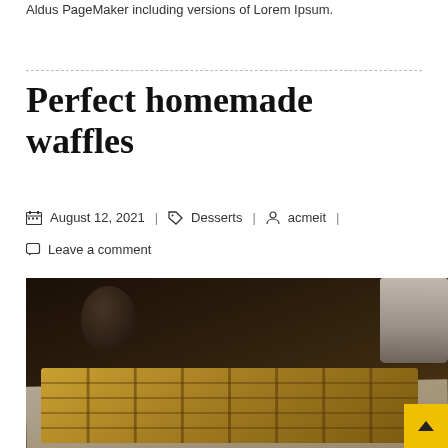Aldus PageMaker including versions of Lorem Ipsum.
Perfect homemade waffles
August 12, 2021 | Desserts | acmeit |
Leave a comment
[Figure (photo): Photo of homemade waffles with powdered sugar on parchment paper, with mugs in the dark background. A popup dialog overlays the lower left reading 'Want to get this site?' with a pink 'Yes, Import Demo' button and an X close button. A yellow scroll-to-top arrow button is at the bottom right.]